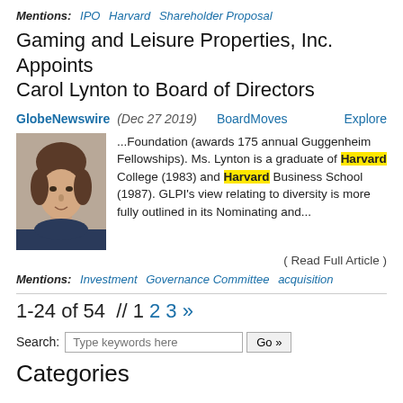Mentions: IPO  Harvard  Shareholder Proposal
Gaming and Leisure Properties, Inc. Appoints Carol Lynton to Board of Directors
GlobeNewswire (Dec 27 2019)   BoardMoves   Explore
[Figure (photo): Headshot of Carol Lynton, a woman with short brown hair wearing a dark top]
...Foundation (awards 175 annual Guggenheim Fellowships). Ms. Lynton is a graduate of Harvard College (1983) and Harvard Business School (1987). GLPI's view relating to diversity is more fully outlined in its Nominating and...
( Read Full Article )
Mentions: Investment  Governance Committee  acquisition
1-24 of 54  // 1 2 3 »
Search: Type keywords here  Go »
Categories